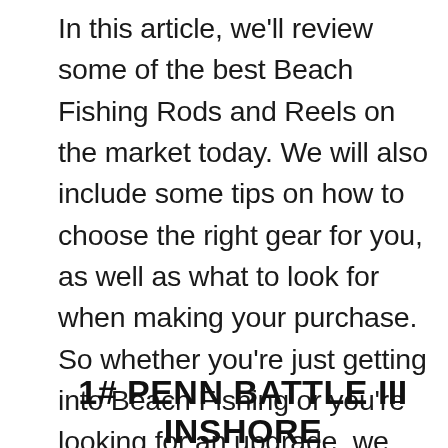In this article, we'll review some of the best Beach Fishing Rods and Reels on the market today. We will also include some tips on how to choose the right gear for you, as well as what to look for when making your purchase. So whether you're just getting into Beach Fishing or you're looking for an upgrade, we hope this article helps you find the perfect rod and reel combo for your needs.
1# PENN BATTLE III INSHORE